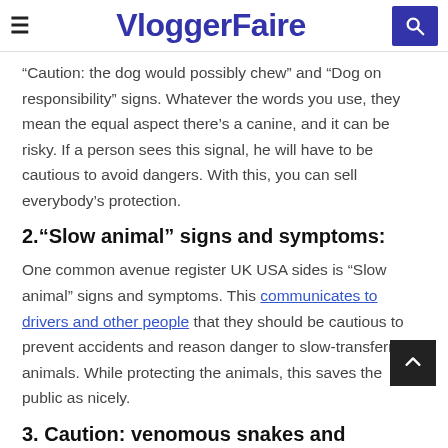VloggerFaire
“Caution: the dog would possibly chew” and “Dog on responsibility” signs. Whatever the words you use, they mean the equal aspect there’s a canine, and it can be risky. If a person sees this signal, he will have to be cautious to avoid dangers. With this, you can sell everybody’s protection.
2. “Slow animal” signs and symptoms:
One common avenue register UK USA sides is “Slow animal” signs and symptoms. This communicates to drivers and other people that they should be cautious to prevent accidents and reason danger to slow-transferring animals. While protecting the animals, this saves the public as nicely.
3. Caution: venomous snakes and reptiles”